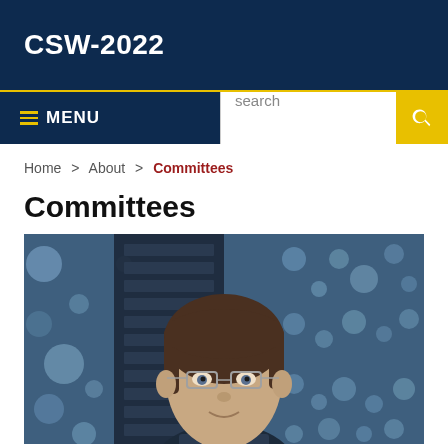CSW-2022
≡ MENU | search
Home > About > Committees
Committees
[Figure (photo): Portrait photo of a young man with brown hair and glasses, wearing a suit, against a blurred blue background with light bokeh dots]